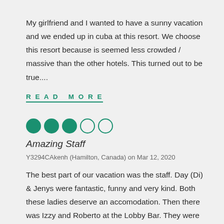My girlfriend and I wanted to have a sunny vacation and we ended up in cuba at this resort. We choose this resort because is seemed less crowded / massive than the other hotels. This turned out to be true....
READ MORE
[Figure (infographic): 3 filled green circles and 2 empty green-outlined circles representing a 3 out of 5 star rating]
Amazing Staff
Y3294CAkenh (Hamilton, Canada) on Mar 12, 2020
The best part of our vacation was the staff. Day (Di) & Jenys were fantastic, funny and very kind. Both these ladies deserve an accomodation. Then there was Izzy and Roberto at the Lobby Bar. They were alw...
READ MORE